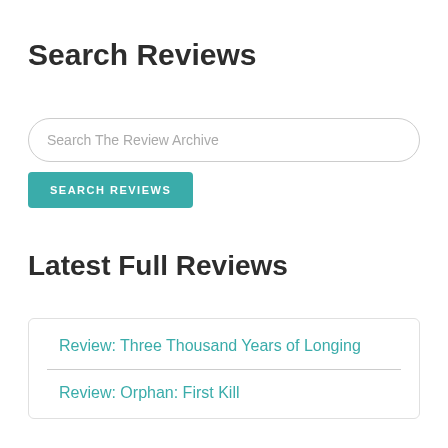Search Reviews
Search The Review Archive
SEARCH REVIEWS
Latest Full Reviews
Review: Three Thousand Years of Longing
Review: Orphan: First Kill